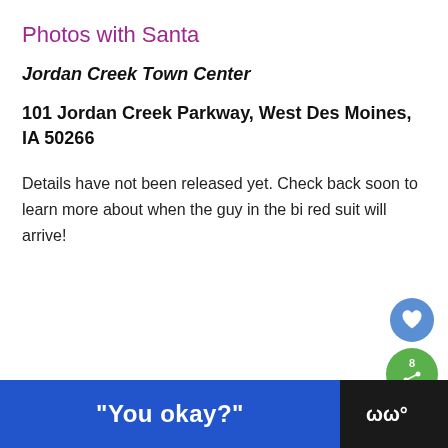Photos with Santa
Jordan Creek Town Center
101 Jordan Creek Parkway, West Des Moines, IA 50266
Details have not been released yet. Check back soon to learn more about when the guy in the big red suit will arrive!
[Figure (screenshot): UI overlay elements: heart/like button (blue circle), share button (green circle with number 8), and a 'What's Next' card showing 'Holiday Events in De...']
[Figure (screenshot): Bottom advertisement bar with blue banner reading '"You okay?"' and a dark right section with a logo]